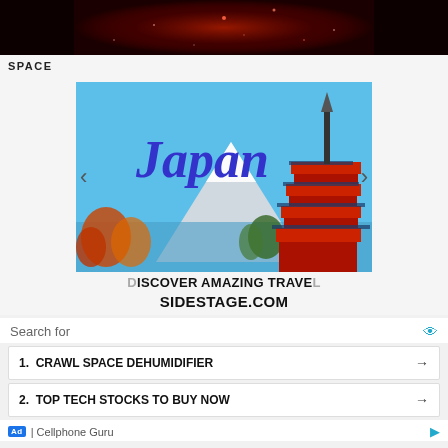[Figure (photo): Dark red/maroon space image showing stars or nebula, cropped at top]
SPACE
[Figure (photo): Japan travel advertisement banner showing Mount Fuji and a red pagoda with text 'Japan' in blue italic and 'DISCOVER AMAZING TRAVEL SIDESTAGE.COM']
Search for
1.  CRAWL SPACE DEHUMIDIFIER →
2.  TOP TECH STOCKS TO BUY NOW →
Ad | Cellphone Guru